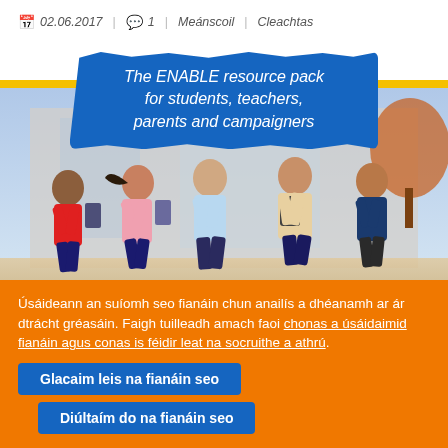02.06.2017  1  Meánscoil  Cleachtas
[Figure (photo): Cover image of the ENABLE resource pack showing five school-age children running and smiling in front of a school building, with a blue torn-edge banner reading 'The ENABLE resource pack for students, teachers, parents and campaigners' overlaid on a yellow bar background.]
Úsáideann an suíomh seo fianáin chun anailís a dhéanamh ar ár dtrácht gréasáin. Faigh tuilleadh amach faoi chonas a úsáidaimid fianáin agus conas is féidir leat na socruithe a athrú.
Glacaim leis na fianáin seo
Diúltaím do na fianáin seo